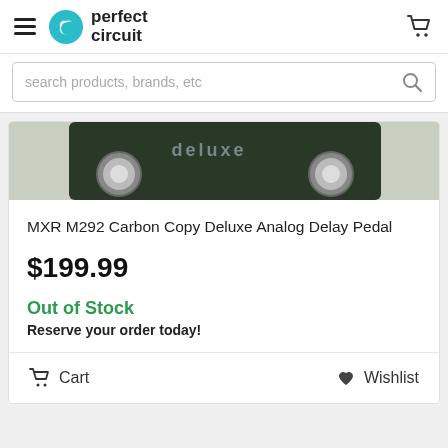[Figure (logo): Perfect Circuit logo with hamburger menu icon and shopping cart icon in top navigation bar]
search products, brands, etc
[Figure (photo): Partial cropped photo of MXR M292 Carbon Copy Deluxe Analog Delay Pedal - dark green pedal top visible]
MXR M292 Carbon Copy Deluxe Analog Delay Pedal
$199.99
Out of Stock
Reserve your order today!
Cart
Wishlist